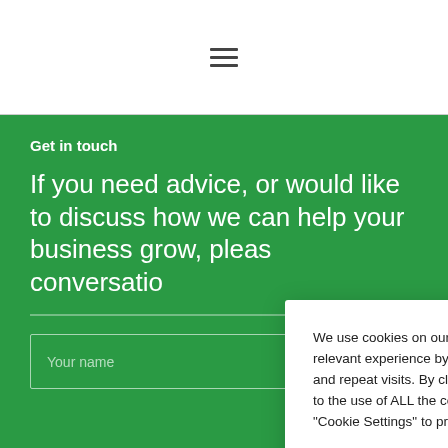☰ (hamburger menu icon)
Get in touch
If you need advice, or would like to discuss how we can help your business grow, please start the conversation
Your name
We use cookies on our website to give you the most relevant experience by remembering your preferences and repeat visits. By clicking "Accept All", you consent to the use of ALL the cookies. However, you may visit "Cookie Settings" to provide a controlled consent.
Cookie Settings
Accept All